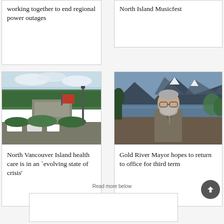working together to end regional power outages
North Island Musicfest
[Figure (photo): Exterior of a hospital or medical building with parking lot, trees, and signage]
North Vancouver Island health care is in an `evolving state of crisis'
[Figure (photo): Portrait of Gold River Mayor, an older man with glasses and grey beard wearing a suit, with mountains and water in background]
Gold River Mayor hopes to return to office for third term
Read more below